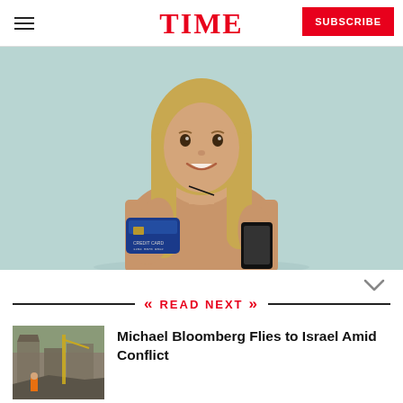TIME
[Figure (photo): A smiling young woman with long blonde hair, wearing a tan/beige top, holding a blue credit card in one hand and a black smartphone in the other. Background is light teal/blue.]
READ NEXT
[Figure (photo): Thumbnail image of destruction/rubble scene, appearing to show a conflict or disaster zone with construction equipment and people.]
Michael Bloomberg Flies to Israel Amid Conflict